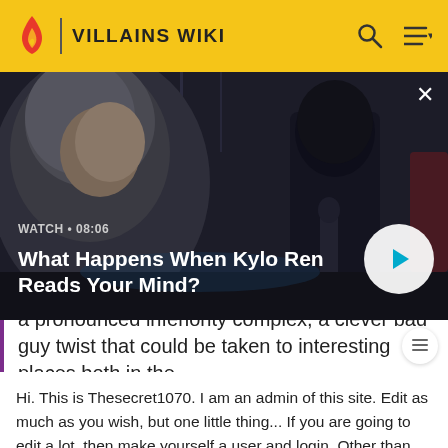VILLAINS WIKI
[Figure (screenshot): Dark video thumbnail showing a cloaked figure (Kylo Ren) in a dimly lit scene, with WATCH • 08:06 label and title overlay]
What Happens When Kylo Ren Reads Your Mind?
a pronounced inferiority complex, a clever bad guy twist that could be taken to interesting places both in the
Hi. This is Thesecret1070. I am an admin of this site. Edit as much as you wish, but one little thing... If you are going to edit a lot, then make yourself a user and login. Other than that, enjoy Villains Wiki!!!